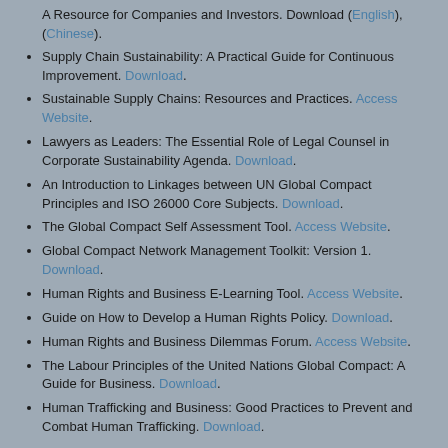A Resource for Companies and Investors. Download (English), (Chinese).
Supply Chain Sustainability: A Practical Guide for Continuous Improvement. Download.
Sustainable Supply Chains: Resources and Practices. Access Website.
Lawyers as Leaders: The Essential Role of Legal Counsel in Corporate Sustainability Agenda. Download.
An Introduction to Linkages between UN Global Compact Principles and ISO 26000 Core Subjects. Download.
The Global Compact Self Assessment Tool. Access Website.
Global Compact Network Management Toolkit: Version 1. Download.
Human Rights and Business E-Learning Tool. Access Website.
Guide on How to Develop a Human Rights Policy. Download.
Human Rights and Business Dilemmas Forum. Access Website.
The Labour Principles of the United Nations Global Compact: A Guide for Business. Download.
Human Trafficking and Business: Good Practices to Prevent and Combat Human Trafficking. Download.